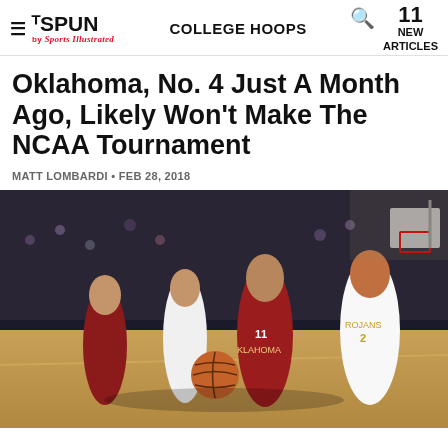THE SPUN by Sports Illustrated · COLLEGE HOOPS · 11 NEW ARTICLES
Oklahoma, No. 4 Just A Month Ago, Likely Won't Make The NCAA Tournament
MATT LOMBARDI • FEB 28, 2018
[Figure (photo): Basketball player in Oklahoma #11 red jersey dribbling past USC Trojans defenders on an indoor court]